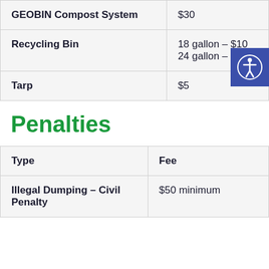|  |  |
| --- | --- |
| GEOBIN Compost System | $30 |
| Recycling Bin | 18 gallon – $10
24 gallon – $14 |
| Tarp | $5 |
Penalties
| Type | Fee |
| --- | --- |
| Illegal Dumping – Civil Penalty | $50 minimum |